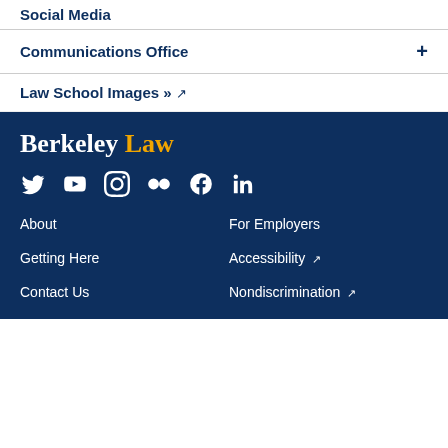Social Media
Communications Office
Law School Images »  ↗
[Figure (logo): Berkeley Law logo with 'Berkeley' in white serif and 'Law' in gold serif text]
[Figure (infographic): Row of social media icons: Twitter, YouTube, Instagram, Flickr, Facebook, LinkedIn — all white on dark navy background]
About
For Employers
Getting Here
Accessibility ↗
Contact Us
Nondiscrimination ↗